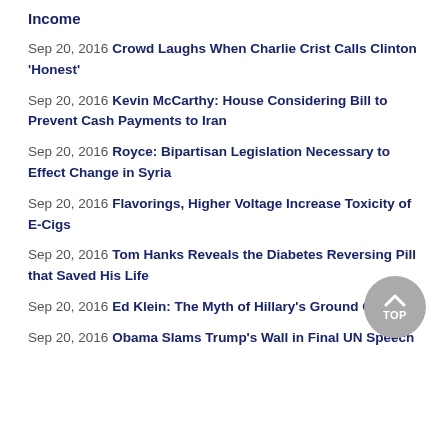Income
Sep 20, 2016 Crowd Laughs When Charlie Crist Calls Clinton 'Honest'
Sep 20, 2016 Kevin McCarthy: House Considering Bill to Prevent Cash Payments to Iran
Sep 20, 2016 Royce: Bipartisan Legislation Necessary to Effect Change in Syria
Sep 20, 2016 Flavorings, Higher Voltage Increase Toxicity of E-Cigs
Sep 20, 2016 Tom Hanks Reveals the Diabetes Reversing Pill that Saved His Life
Sep 20, 2016 Ed Klein: The Myth of Hillary's Ground Game
Sep 20, 2016 Obama Slams Trump's Wall in Final UN Speech